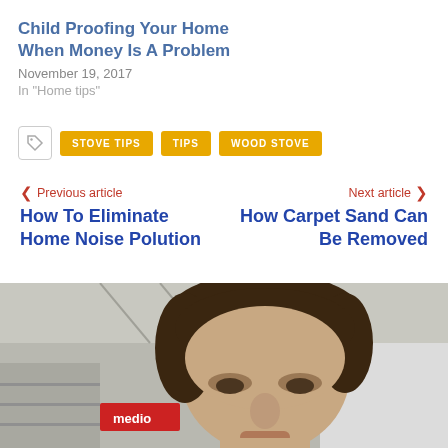Child Proofing Your Home When Money Is A Problem
November 19, 2017
In "Home tips"
STOVE TIPS  TIPS  WOOD STOVE
< Previous article
How To Eliminate Home Noise Polution
Next article >
How Carpet Sand Can Be Removed
[Figure (photo): Photo of a man with brown hair sitting in what appears to be a store or public space, with a red 'medio' sign visible in the background.]